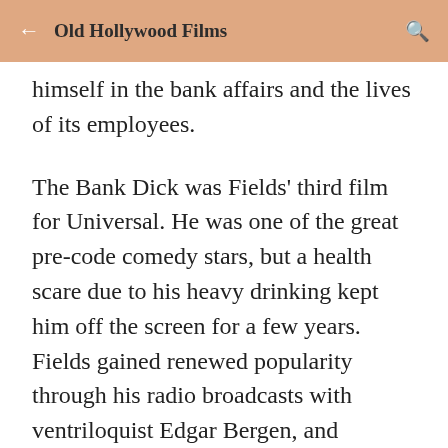Old Hollywood Films
himself in the bank affairs and the lives of its employees.
The Bank Dick was Fields' third film for Universal. He was one of the great pre-code comedy stars, but a health scare due to his heavy drinking kept him off the screen for a few years. Fields gained renewed popularity through his radio broadcasts with ventriloquist Edgar Bergen, and Universal Pictures gave him a contract to continue his rivalry with Bergen on the big screen in You Can't Cheat an Honest Man (1939).